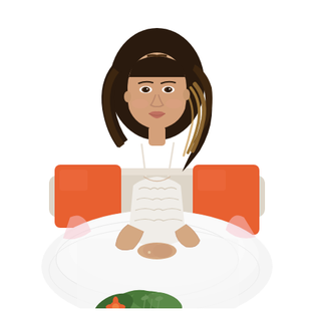[Figure (photo): A young woman with long wavy brunette ombre hair sits on a light beige sofa wearing a white lace bodice bridal ball gown. Two bright orange throw pillows are visible behind her on either side. She rests her hands in front of her on the voluminous white tulle skirt, looking calmly toward the camera. The background is bright white. In the lower portion of the image, green eucalyptus foliage and an orange flower are visible at the bottom edge.]